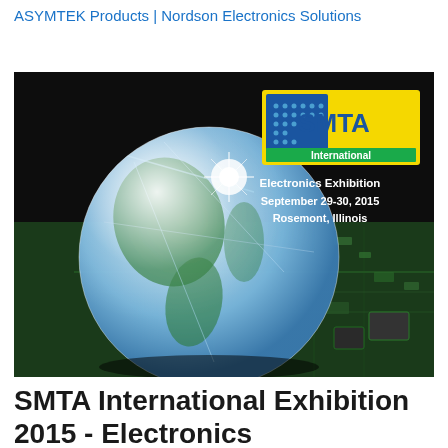ASYMTEK Products | Nordson Electronics Solutions
[Figure (photo): SMTA International Electronics Exhibition promotional banner showing a crystal globe resting on a green circuit board, with the SMTA International logo (blue and yellow) and text: Electronics Exhibition, September 29-30, 2015, Rosemont, Illinois]
SMTA International Exhibition 2015 - Electronics Manufacturing